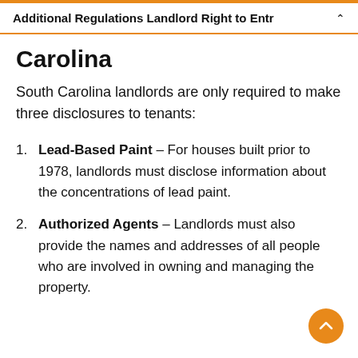Additional Regulations Landlord Right to Entr
Carolina
South Carolina landlords are only required to make three disclosures to tenants:
Lead-Based Paint – For houses built prior to 1978, landlords must disclose information about the concentrations of lead paint.
Authorized Agents – Landlords must also provide the names and addresses of all people who are involved in owning and managing the property.